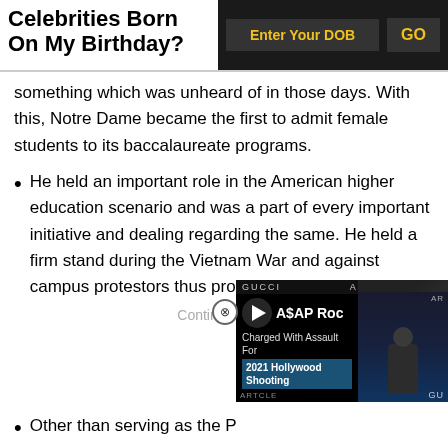Celebrities Born On My Birthday?
something which was unheard of in those days. With this, Notre Dame became the first to admit female students to its baccalaureate programs.
He held an important role in the American higher education scenario and was a part of every important initiative and dealing regarding the same. He held a firm stand during the Vietnam War and against campus protestors thus protecting the right of others.
Continue Read
[Figure (screenshot): Video ad overlay showing ASAP Rocky news story 'Charged With Assault For 2021 Hollywood Shooting' with Gucci branding and play button]
Other than serving as the P